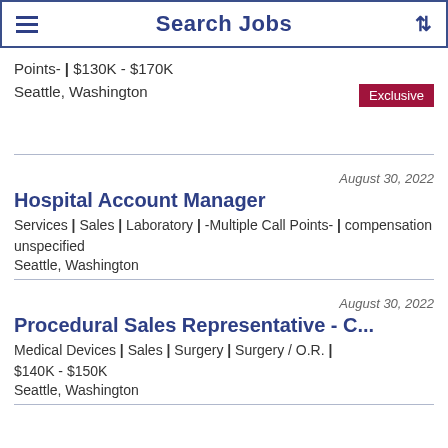Search Jobs
Points- | $130K - $170K
Seattle, Washington
August 30, 2022
Hospital Account Manager
Services | Sales | Laboratory | -Multiple Call Points- | compensation unspecified
Seattle, Washington
August 30, 2022
Procedural Sales Representative - C...
Medical Devices | Sales | Surgery | Surgery / O.R. | $140K - $150K
Seattle, Washington